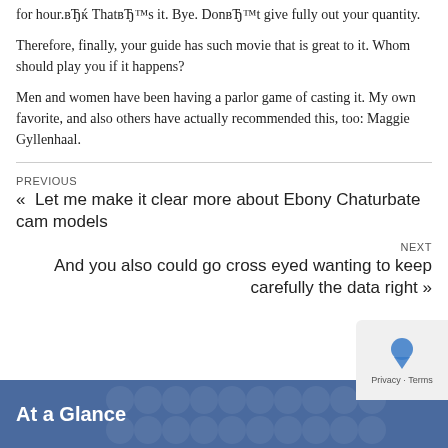for hour.вЂќ ThatвЂ™s it. Bye. DonвЂ™t give fully out your quantity.
Therefore, finally, your guide has such movie that is great to it. Whom should play you if it happens?
Men and women have been having a parlor game of casting it. My own favorite, and also others have actually recommended this, too: Maggie Gyllenhaal.
PREVIOUS
« Let me make it clear more about Ebony Chaturbate cam models
NEXT
And you also could go cross eyed wanting to keep carefully the data right »
At a Glance